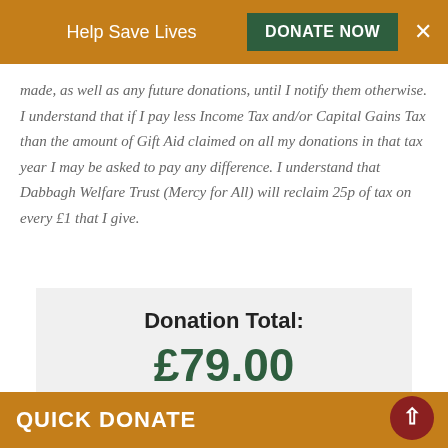Help Save Lives  DONATE NOW  ×
made, as well as any future donations, until I notify them otherwise. I understand that if I pay less Income Tax and/or Capital Gains Tax than the amount of Gift Aid claimed on all my donations in that tax year I may be asked to pay any difference. I understand that Dabbagh Welfare Trust (Mercy for All) will reclaim 25p of tax on every £1 that I give.
Donation Total:
£79.00
Donate Now
QUICK DONATE